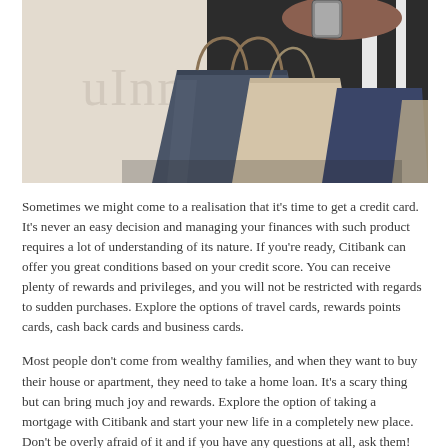[Figure (photo): A person holding shopping bags and a phone, shown from the chest down. The bags are navy blue and beige/cream colored. The person wears a striped top and dark jacket.]
Sometimes we might come to a realisation that it's time to get a credit card. It's never an easy decision and managing your finances with such product requires a lot of understanding of its nature. If you're ready, Citibank can offer you great conditions based on your credit score. You can receive plenty of rewards and privileges, and you will not be restricted with regards to sudden purchases. Explore the options of travel cards, rewards points cards, cash back cards and business cards.
Most people don't come from wealthy families, and when they want to buy their house or apartment, they need to take a home loan. It's a scary thing but can bring much joy and rewards. Explore the option of taking a mortgage with Citibank and start your new life in a completely new place. Don't be overly afraid of it and if you have any questions at all, ask them! They are more than ready to help. Citibank will be sure to show you...